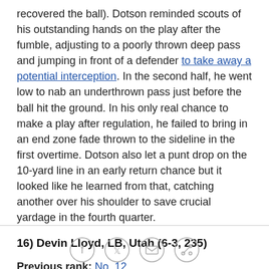recovered the ball). Dotson reminded scouts of his outstanding hands on the play after the fumble, adjusting to a poorly thrown deep pass and jumping in front of a defender to take away a potential interception. In the second half, he went low to nab an underthrown pass just before the ball hit the ground. In his only real chance to make a play after regulation, he failed to bring in an end zone fade thrown to the sideline in the first overtime. Dotson also let a punt drop on the 10-yard line in an early return chance but it looked like he learned from that, catching another over his shoulder to save crucial yardage in the fourth quarter.
16) Devin Lloyd, LB, Utah (6-3, 235)
Previous rank: No. 12